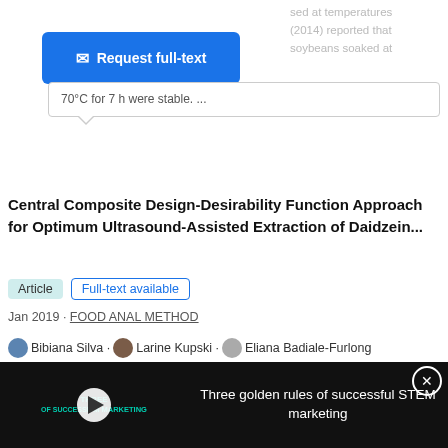[Figure (screenshot): Request full-text button (blue) and chevron dropdown button on a research portal UI]
70°C for 7 h were stable. ...
Central Composite Design-Desirability Function Approach for Optimum Ultrasound-Assisted Extraction of Daidzein...
Article  Full-text available
Jan 2019 · FOOD ANAL METHOD
Bibiana Silva · Larine Kupski · Eliana Badiale-Furlong
[Figure (screenshot): Video overlay with play button showing 'Three golden rules of successful STEM marketing' advertisement with ThermoFisher Scientific branding]
NEW International Informatics Symposium